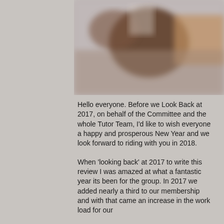[Figure (photo): A blurred photograph showing what appears to be an indoor scene with dark and warm tones, likely an equestrian or club setting.]
Hello everyone. Before we Look Back at 2017, on behalf of the Committee and the whole Tutor Team, I'd like to wish everyone a happy and prosperous New Year and we look forward to riding with you in 2018.
When 'looking back' at 2017 to write this review I was amazed at what a fantastic year its been for the group. In 2017 we added nearly a third to our membership and with that came an increase in the work load for our